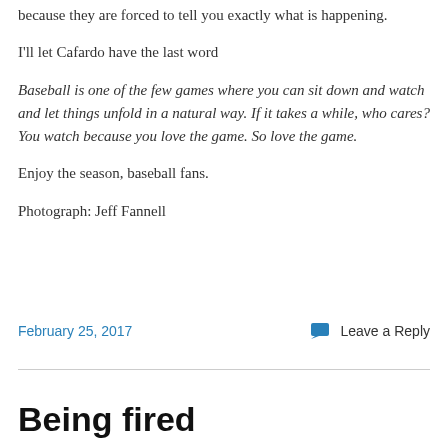because they are forced to tell you exactly what is happening.
I'll let Cafardo have the last word
Baseball is one of the few games where you can sit down and watch and let things unfold in a natural way. If it takes a while, who cares? You watch because you love the game. So love the game.
Enjoy the season, baseball fans.
Photograph: Jeff Fannell
February 25, 2017
Leave a Reply
Being fired